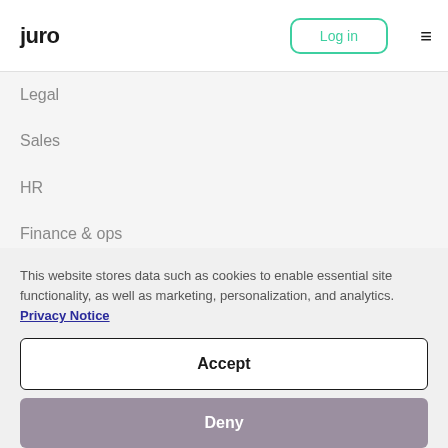Juro | Log in
Legal
Sales
HR
Finance & ops
This website stores data such as cookies to enable essential site functionality, as well as marketing, personalization, and analytics. Privacy Notice
Accept
Deny